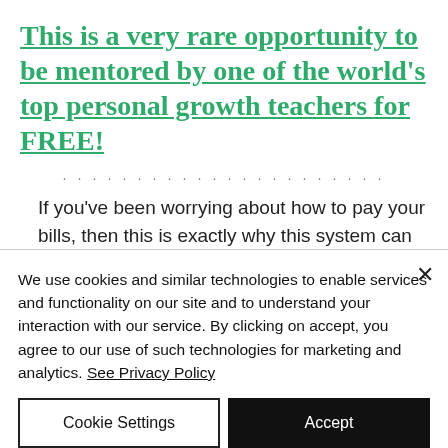This is a very rare opportunity to be mentored by one of the world's top personal growth teachers for FREE!
................................
If you've been worrying about how to pay your bills, then this is exactly why this system can change everything for you
We use cookies and similar technologies to enable services and functionality on our site and to understand your interaction with our service. By clicking on accept, you agree to our use of such technologies for marketing and analytics. See Privacy Policy